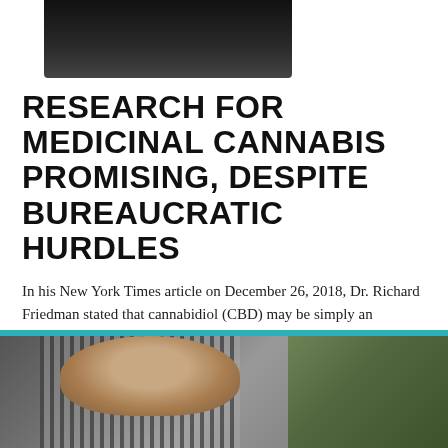[Figure (photo): Partial photo of a person, dark background, cropped at top]
RESEARCH FOR MEDICINAL CANNABIS PROMISING, DESPITE BUREAUCRATIC HURDLES
In his New York Times article on December 26, 2018, Dr. Richard Friedman stated that cannabidiol (CBD) may be simply an expensive placebo. This careless claim...
By Rheza
January 8, 2019
Health
[Figure (photo): Photo of a person wearing a striped shirt, with green foliage in background, teal bar at top]